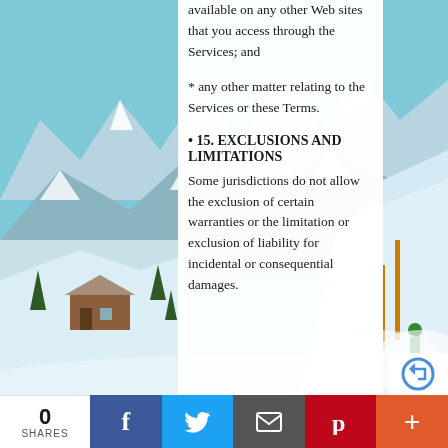[Figure (photo): Snow-covered mountain landscape with ski resort, skiers visible on the right side, snowy peaks in background under blue sky]
available on any other Web sites that you access through the Services; and
* any other matter relating to the Services or these Terms.
• 15. EXCLUSIONS AND LIMITATIONS
Some jurisdictions do not allow the exclusion of certain warranties or the limitation or exclusion of liability for incidental or consequential damages.